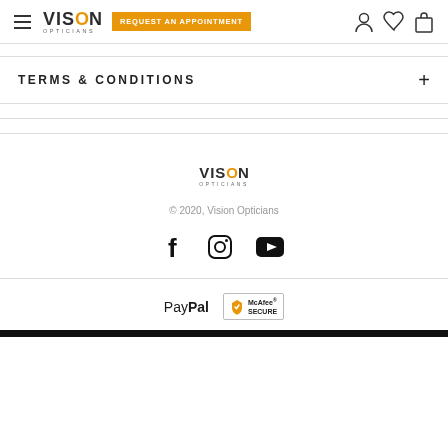Vision Opticians — REQUEST AN APPOINTMENT
TERMS & CONDITIONS
[Figure (logo): Vision Opticians logo in footer]
© 2020, Vision Opticians
[Figure (infographic): Social media icons: Facebook, Instagram, YouTube]
[Figure (logo): PayPal and McAfee Secure payment badges]